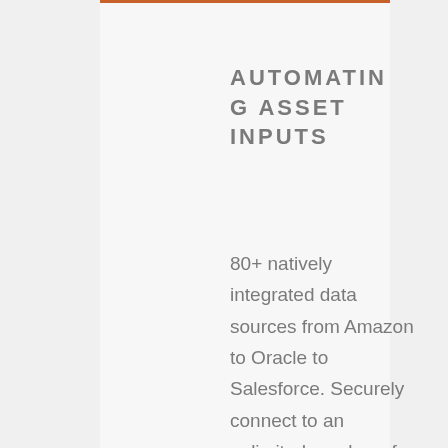AUTOMATING ASSET INPUTS
80+ natively integrated data sources from Amazon to Oracle to Salesforce. Securely connect to an unlimited number of